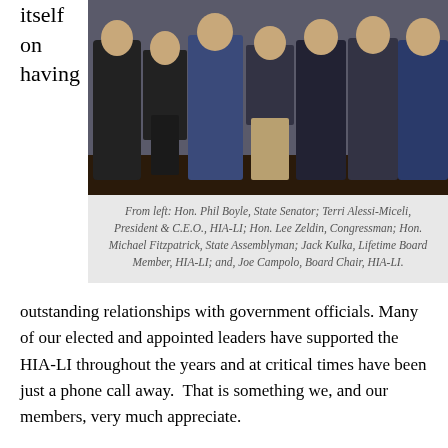itself on having
[Figure (photo): Group photo of several people standing together indoors, likely at a formal event.]
From left: Hon. Phil Boyle, State Senator; Terri Alessi-Miceli, President & C.E.O., HIA-LI; Hon. Lee Zeldin, Congressman; Hon. Michael Fitzpatrick, State Assemblyman; Jack Kulka, Lifetime Board Member, HIA-LI; and, Joe Campolo, Board Chair, HIA-LI.
outstanding relationships with government officials. Many of our elected and appointed leaders have supported the HIA-LI throughout the years and at critical times have been just a phone call away.  That is something we, and our members, very much appreciate.